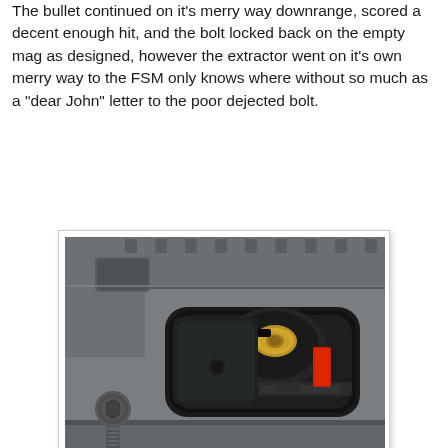The bullet continued on it's merry way downrange, scored a decent enough hit, and the bolt locked back on the empty mag as designed, however the extractor went on it's own merry way to the FSM only knows where without so much as a "dear John" letter to the poor dejected bolt.
[Figure (photo): Close-up photograph of a firearm's ejection port/bolt area showing a spent brass casing stuck in the bolt face, with the extractor apparently missing. The firearm appears to be an AR-style rifle with a gray/dark finish. A red follower is visible in the magazine. Watermark reads 'Guns & Coffee'.]